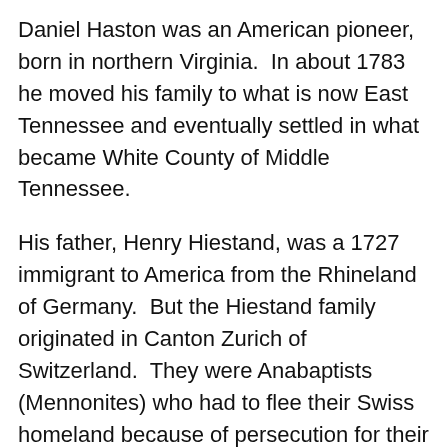Daniel Haston was an American pioneer, born in northern Virginia.  In about 1783 he moved his family to what is now East Tennessee and eventually settled in what became White County of Middle Tennessee.
His father, Henry Hiestand, was a 1727 immigrant to America from the Rhineland of Germany.  But the Hiestand family originated in Canton Zurich of Switzerland.  They were Anabaptists (Mennonites) who had to flee their Swiss homeland because of persecution for their simple Biblical faith.
Daniel, a first generation born-American, was a very simple man who had 13 or so children and dozens of grandchildren who scattered from Tennessee throughout the Mid-West and pretty much all over the